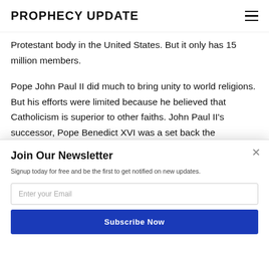PROPHECY UPDATE
Protestant body in the United States. But it only has 15 million members.
Pope John Paul II did much to bring unity to world religions. But his efforts were limited because he believed that Catholicism is superior to other faiths. John Paul II's successor, Pope Benedict XVI was a set back the Ecumenical Movement by correctly
[Figure (screenshot): POWERED BY SUMO banner overlay on article text]
Join Our Newsletter
Signup today for free and be the first to get notified on new updates.
Enter your Email
Subscribe Now